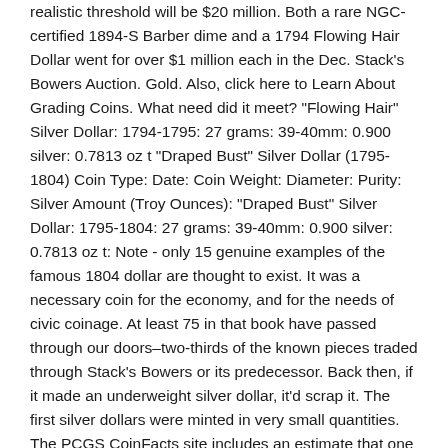realistic threshold will be $20 million. Both a rare NGC-certified 1894-S Barber dime and a 1794 Flowing Hair Dollar went for over $1 million each in the Dec. Stack's Bowers Auction. Gold. Also, click here to Learn About Grading Coins. What need did it meet? "Flowing Hair" Silver Dollar: 1794-1795: 27 grams: 39-40mm: 0.900 silver: 0.7813 oz t "Draped Bust" Silver Dollar (1795-1804) Coin Type: Date: Coin Weight: Diameter: Purity: Silver Amount (Troy Ounces): "Draped Bust" Silver Dollar: 1795-1804: 27 grams: 39-40mm: 0.900 silver: 0.7813 oz t: Note - only 15 genuine examples of the famous 1804 dollar are thought to exist. It was a necessary coin for the economy, and for the needs of civic coinage. At least 75 in that book have passed through our doors–two-thirds of the known pieces traded through Stack's Bowers or its predecessor. Back then, if it made an underweight silver dollar, it'd scrap it. The first silver dollars were minted in very small quantities. The PCGS CoinFacts site includes an estimate that one thousand 1797 'Ten by Six' Dollars survive. An artist or a sculptor might put out a design for a coin. The law...